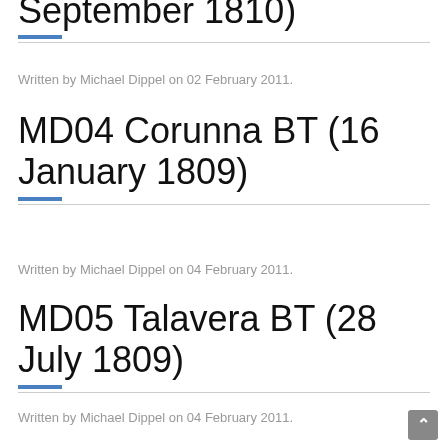September 1810)
Written by Michael Dippel on 02 February 2011.
MD04 Corunna BT (16 January 1809)
Written by Michael Dippel on 04 February 2011.
MD05 Talavera BT (28 July 1809)
Written by Michael Dippel on 04 February 2011.